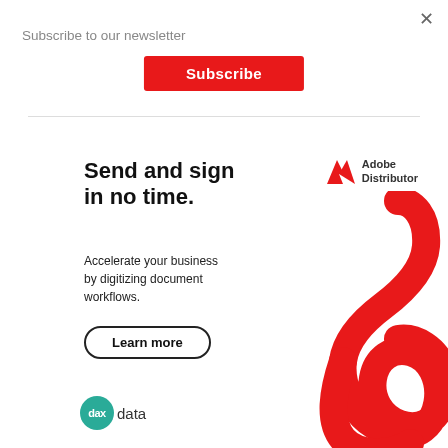Subscribe to our newsletter
Subscribe
[Figure (illustration): Adobe Distributor advertisement banner featuring bold headline 'Send and sign in no time.', subtext 'Accelerate your business by digitizing document workflows.', a 'Learn more' button, the Adobe Distributor logo, a decorative red Adobe Acrobat swirl logo, and the daxdata logo at the bottom.]
Send and sign in no time.
Accelerate your business by digitizing document workflows.
Learn more
Adobe Distributor
daxdata